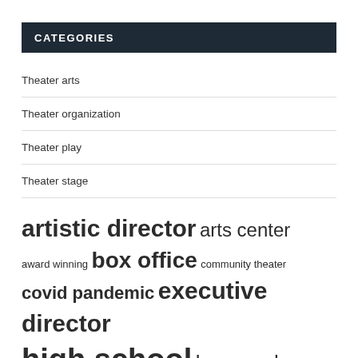CATEGORIES
Theater arts
Theater organization
Theater play
Theater stage
artistic director arts center award winning box office community theater covid pandemic executive director high school los angeles musical theater performing arts